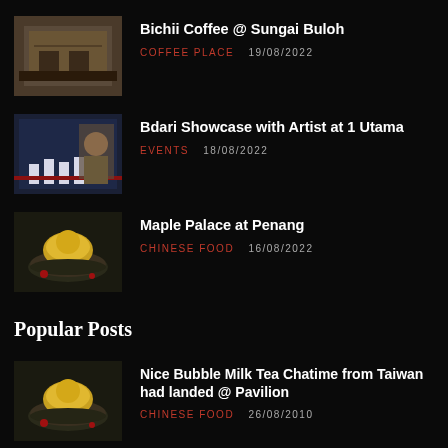Bichii Coffee @ Sungai Buloh | COFFEE PLACE | 19/08/2022
Bdari Showcase with Artist at 1 Utama | EVENTS | 18/08/2022
Maple Palace at Penang | CHINESE FOOD | 16/08/2022
Popular Posts
Nice Bubble Milk Tea Chatime from Taiwan had landed @ Pavilion | CHINESE FOOD | 26/08/2010